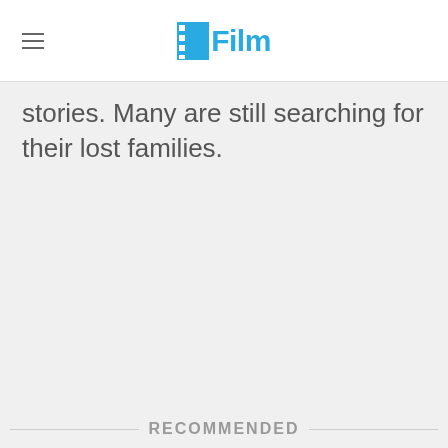/Film
stories. Many are still searching for their lost families.
RECOMMENDED